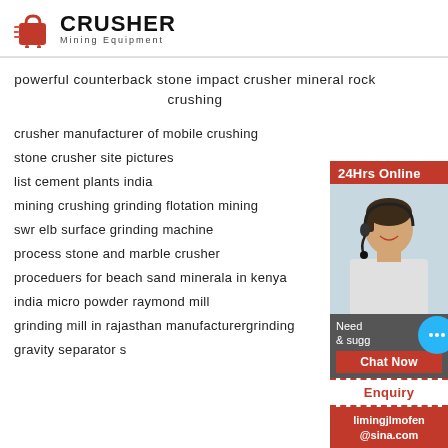[Figure (logo): Crusher Mining Equipment logo with red shopping bag/cart icon and bold CRUSHER text]
powerful counterback stone impact crusher mineral rock crushing
crusher manufacturer of mobile crushing
stone crusher site pictures
list cement plants india
mining crushing grinding flotation mining
swr elb surface grinding machine
process stone and marble crusher
proceduers for beach sand minerala in kenya
india micro powder raymond mill
grinding mill in rajasthan manufacturergrinding
gravity separator s
[Figure (infographic): 24Hrs Online customer service panel with photo of woman with headset, chat bubble, Chat Now button, Enquiry section, and limingjlmofen@sina.com email]